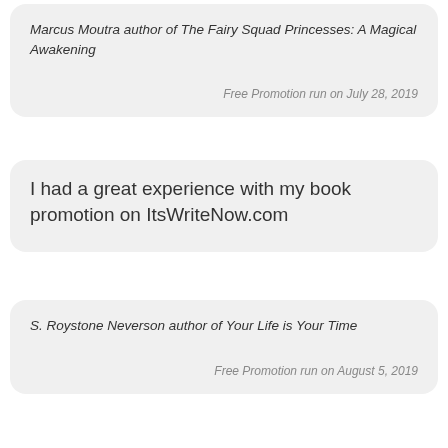Marcus Moutra author of The Fairy Squad Princesses: A Magical Awakening
Free Promotion run on July 28, 2019
I had a great experience with my book promotion on ItsWriteNow.com
S. Roystone Neverson author of Your Life is Your Time
Free Promotion run on August 5, 2019